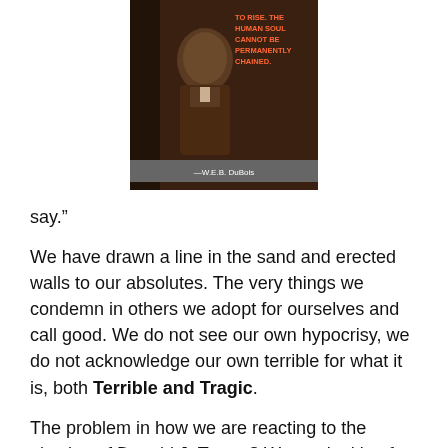[Figure (photo): Black and white photograph of W.E.B. DuBois with an orange text quote overlay reading 'TO RISE. THE HUMAN SOUL CANNOT BE PERMANENTLY CHAINED.' and attribution '—W.E.B. DuBois' on a dark banner]
say.”
We have drawn a line in the sand and erected walls to our absolutes. The very things we condemn in others we adopt for ourselves and call good. We do not see our own hypocrisy, we do not acknowledge our own terrible for what it is, both Terrible and Tragic.
The problem in how we are reacting to the election of Donald J. Trump? We are looking for excuses, seeking to lay blame anywhere we can, enemy and ally alike. In doing this we looked first to the easiest target, anyone ‘not exactly like us’ which included allies and with broad brush